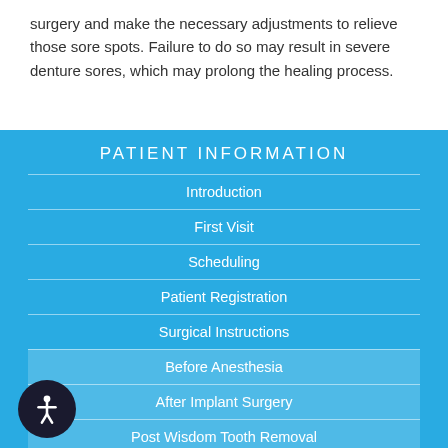surgery and make the necessary adjustments to relieve those sore spots. Failure to do so may result in severe denture sores, which may prolong the healing process.
PATIENT INFORMATION
Introduction
First Visit
Scheduling
Patient Registration
Surgical Instructions
Before Anesthesia
After Implant Surgery
Post Wisdom Tooth Removal
After Exposure of an Impacted Tooth